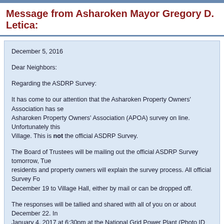Message from Asharoken Mayor Gregory D. Letica:
December 5, 2016
Dear Neighbors:
Regarding the ASDRP Survey:
It has come to our attention that the Asharoken Property Owners' Association has sent the Asharoken Property Owners' Association (APOA) survey on line. Unfortunately this Village. This is not the official ASDRP Survey.
The Board of Trustees will be mailing out the official ASDRP Survey tomorrow, Tuesday residents and property owners will explain the survey process. All official Survey Forms December 19 to Village Hall, either by mail or can be dropped off.
The responses will be tallied and shared with all of you on or about December 22. January 4, 2017 at 6:30pm at the National Grid Power Plant (Photo ID Required) for
The survey results that will be used in making the final decision will be based on the it is important that you respond to our official survey by December 19. Every Asharoken property will have one survey response.
Regards,
Mayor Greg Letica